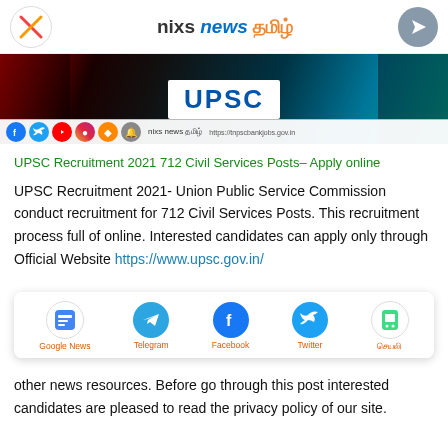nixs news தமிழ்
[Figure (screenshot): Banner image showing UPSC logo on dark gradient background with red, black and teal colors, and social media icons strip below]
UPSC Recruitment 2021 712 Civil Services Posts– Apply online
UPSC Recruitment 2021- Union Public Service Commission conduct recruitment for 712 Civil Services Posts. This recruitment process full of online. Interested candidates can apply only through Official Website https://www.upsc.gov.in/
[Figure (infographic): Share overlay with Google News, Telegram, Facebook, Twitter, and Tamil app icons]
other news resources. Before go through this post interested candidates are pleased to read the privacy policy of our site.